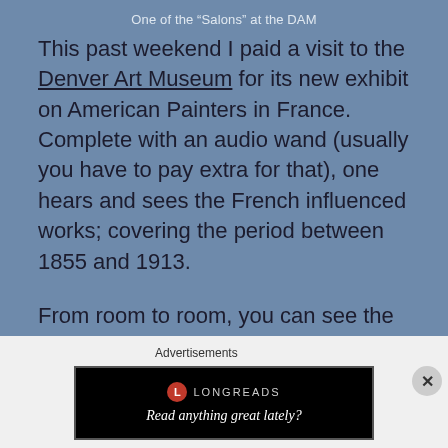One of the "Salons" at the DAM
This past weekend I paid a visit to the Denver Art Museum for its new exhibit on American Painters in France. Complete with an audio wand (usually you have to pay extra for that), one hears and sees the French influenced works; covering the period between 1855 and 1913.
From room to room, you can see the progress from sketches and first impressions as students from the École des BeauxArts to the masterpieces that graced the Paris Salon. The
Advertisements
[Figure (other): Longreads advertisement banner with red circle logo and text 'Read anything great lately?']